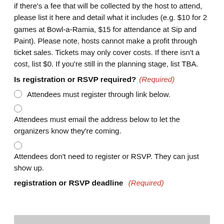if there's a fee that will be collected by the host to attend, please list it here and detail what it includes (e.g. $10 for 2 games at Bowl-a-Ramia, $15 for attendance at Sip and Paint). Please note, hosts cannot make a profit through ticket sales. Tickets may only cover costs. If there isn't a cost, list $0. If you're still in the planning stage, list TBA.
Is registration or RSVP required? (Required)
Attendees must register through link below.
Attendees must email the address below to let the organizers know they're coming.
Attendees don't need to register or RSVP. They can just show up.
registration or RSVP deadline (Required)